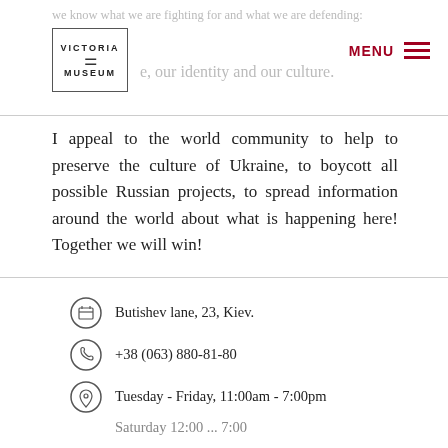we know what we are fighting for and what we are defending: Victoria Museum [logo] e, our identity and our culture. MENU
I appeal to the world community to help to preserve the culture of Ukraine, to boycott all possible Russian projects, to spread information around the world about what is happening here! Together we will win!
With respect and faith in the future,
Victoria Lysenko,
Founder of the Victoria Museum
Butishev lane, 23, Kiev. | +38 (063) 880-81-80 | Tuesday - Friday, 11:00am - 7:00pm | Saturday 12:00 ... 7:00